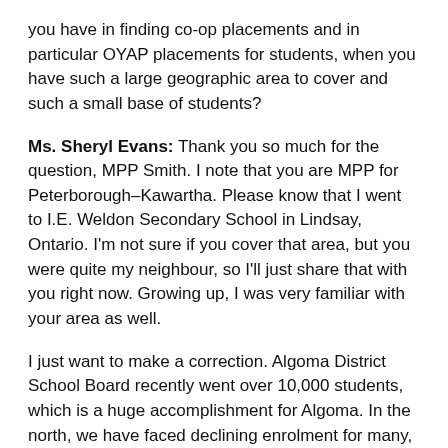you have in finding co-op placements and in particular OYAP placements for students, when you have such a large geographic area to cover and such a small base of students?
Ms. Sheryl Evans: Thank you so much for the question, MPP Smith. I note that you are MPP for Peterborough–Kawartha. Please know that I went to I.E. Weldon Secondary School in Lindsay, Ontario. I'm not sure if you cover that area, but you were quite my neighbour, so I'll just share that with you right now. Growing up, I was very familiar with your area as well.
I just want to make a correction. Algoma District School Board recently went over 10,000 students, which is a huge accomplishment for Algoma. In the north, we have faced declining enrolment for many, many years, and that has, for some of the boards, come as an about-turn, and enrolment has started increasing—which, again, leaning to your question around experiential learning, has put some